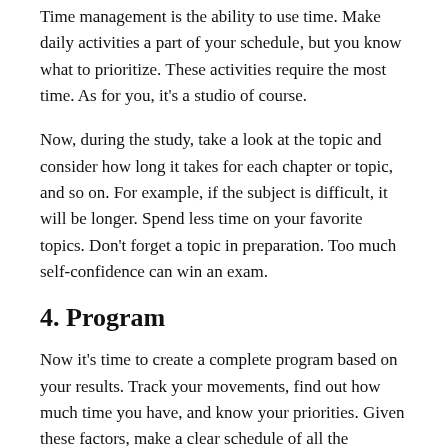Time management is the ability to use time. Make daily activities a part of your schedule, but you know what to prioritize. These activities require the most time. As for you, it's a studio of course.
Now, during the study, take a look at the topic and consider how long it takes for each chapter or topic, and so on. For example, if the subject is difficult, it will be longer. Spend less time on your favorite topics. Don't forget a topic in preparation. Too much self-confidence can win an exam.
4. Program
Now it's time to create a complete program based on your results. Track your movements, find out how much time you have, and know your priorities. Given these factors, make a clear schedule of all the activities you need to do during the day. Think about bedtime, rest time, meal time, recovery time, and so on. The clearer it is, the better.
Don't be arrogant. Always make time to be happy and excited, because too much study will not produce you. No matter how